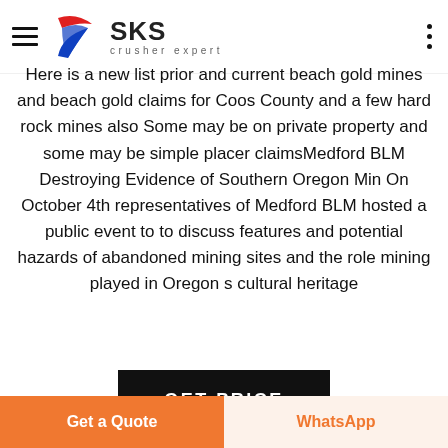SKS crusher expert
Here is a new list prior and current beach gold mines and beach gold claims for Coos County and a few hard rock mines also Some may be on private property and some may be simple placer claimsMedford BLM Destroying Evidence of Southern Oregon Min On October 4th representatives of Medford BLM hosted a public event to to discuss features and potential hazards of abandoned mining sites and the role mining played in Oregon s cultural heritage
[Figure (other): Black button with white bold text reading GET PRICE]
[Figure (photo): Partial photo of industrial equipment, partially visible at bottom of page]
Get a Quote | WhatsApp